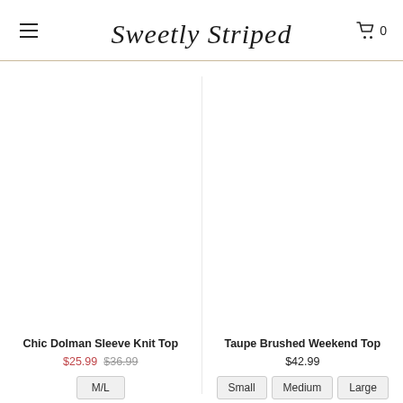Sweetly Striped — Navigation header with menu icon, brand logo, and cart (0)
Chic Dolman Sleeve Knit Top
$25.99  $36.99
M/L
Taupe Brushed Weekend Top
$42.99
Small  Medium  Large